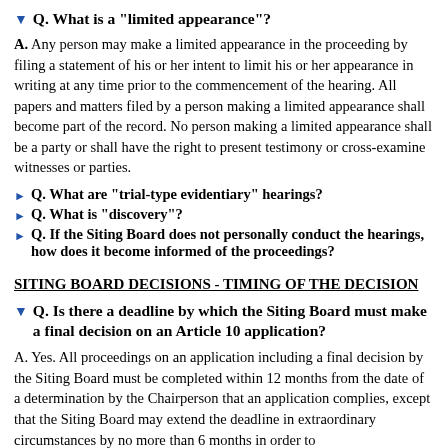Q. What is a "limited appearance"?
A. Any person may make a limited appearance in the proceeding by filing a statement of his or her intent to limit his or her appearance in writing at any time prior to the commencement of the hearing. All papers and matters filed by a person making a limited appearance shall become part of the record. No person making a limited appearance shall be a party or shall have the right to present testimony or cross-examine witnesses or parties.
Q. What are "trial-type evidentiary" hearings?
Q. What is "discovery"?
Q. If the Siting Board does not personally conduct the hearings, how does it become informed of the proceedings?
SITING BOARD DECISIONS - TIMING OF THE DECISION
Q. Is there a deadline by which the Siting Board must make a final decision on an Article 10 application?
A. Yes. All proceedings on an application including a final decision by the Siting Board must be completed within 12 months from the date of a determination by the Chairperson that an application complies, except that the Siting Board may extend the deadline in extraordinary circumstances by no more than 6 months in order to